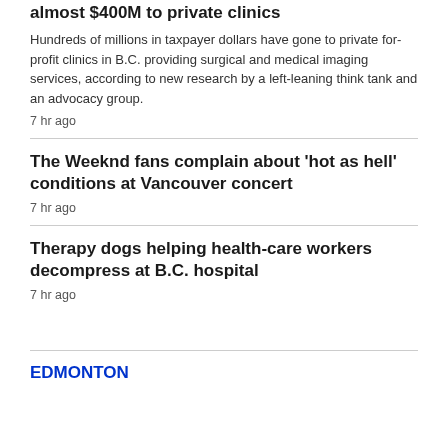almost $400M to private clinics
Hundreds of millions in taxpayer dollars have gone to private for-profit clinics in B.C. providing surgical and medical imaging services, according to new research by a left-leaning think tank and an advocacy group.
7 hr ago
The Weeknd fans complain about 'hot as hell' conditions at Vancouver concert
7 hr ago
Therapy dogs helping health-care workers decompress at B.C. hospital
7 hr ago
EDMONTON